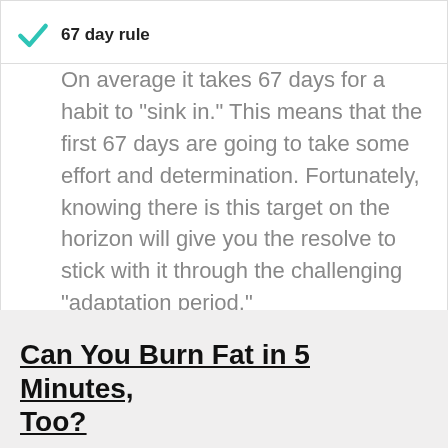67 day rule
On average it takes 67 days for a habit to "sink in." This means that the first 67 days are going to take some effort and determination. Fortunately, knowing there is this target on the horizon will give you the resolve to stick with it through the challenging "adaptation period."
Can You Burn Fat in 5 Minutes, Too?